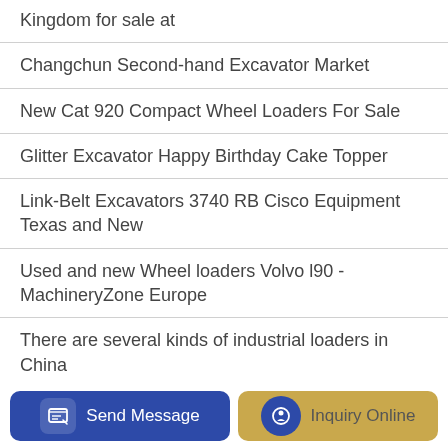Kingdom for sale at
Changchun Second-hand Excavator Market
New Cat 920 Compact Wheel Loaders For Sale
Glitter Excavator Happy Birthday Cake Topper
Link-Belt Excavators 3740 RB Cisco Equipment Texas and New
Used and new Wheel loaders Volvo l90 - MachineryZone Europe
There are several kinds of industrial loaders in China
Lonking loader Lanzhou franchise
Send Message  Inquiry Online